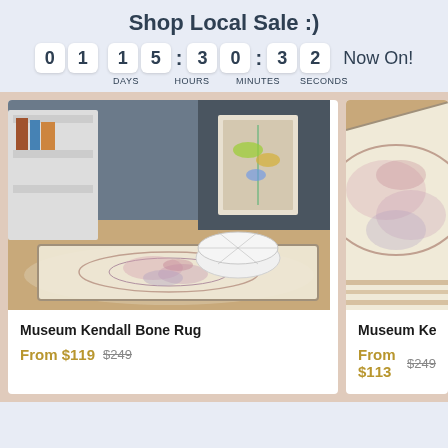Shop Local Sale :)
0 1  1 5 : 3 0 : 3 2  Now On! DAYS HOURS MINUTES SECONDS
[Figure (photo): Museum Kendall Bone Rug displayed in a styled room with a white ottoman on a wood floor, with art prints and shelving in background]
Museum Kendall Bone Rug
From $119  $249
[Figure (photo): Museum Kendall Bone Rug partially visible, close-up angled shot on wood floor]
Museum Kendall Bon
From $113  $249